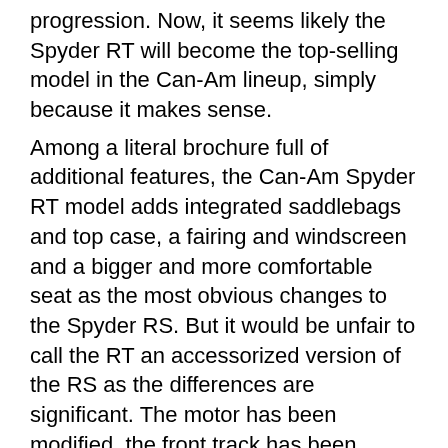progression. Now, it seems likely the Spyder RT will become the top-selling model in the Can-Am lineup, simply because it makes sense. Among a literal brochure full of additional features, the Can-Am Spyder RT model adds integrated saddlebags and top case, a fairing and windscreen and a bigger and more comfortable seat as the most obvious changes to the Spyder RS. But it would be unfair to call the RT an accessorized version of the RS as the differences are significant. The motor has been modified, the front track has been widened by three inches and the suspension beefed up to handle additional loads. Like any large, dressed, touring bike, the Spyder feels best on the highway where its attributes are most apparent. So a 650-kilometre day in the saddle was necessary to gather a true impression. From the rider's seat on the broad saddle, the bars pull back to create the very upright, comfort, rather than the sport, position. In the cockpit the analogue gauges for speed and rpm are separated by a LCD screen that repeats the same